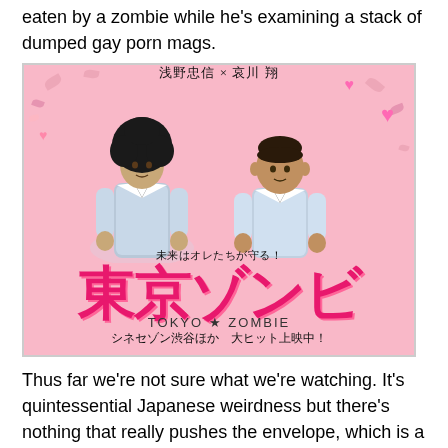eaten by a zombie while he's examining a stack of dumped gay porn mags.
[Figure (photo): Movie poster for Tokyo Zombie (東京ゾンビ), a Japanese film. Pink background with two male actors in light blue/white jumpsuits standing side by side. Large pink Japanese characters reading 東京ゾンビ (Tokyo Zombie) dominate the center. Text reads: 浅野忠信×哀川翔 at top, 未来はオレたちが守る! in middle, TOKYO★ZOMBIE as English subtitle, シネセゾン渋谷ほか 大ヒット上映中! at bottom.]
Thus far we're not sure what we're watching. It's quintessential Japanese weirdness but there's nothing that really pushes the envelope, which is a little disappointing given that sometimes it seems that pushing the envelope is all that modern Japanese movies do. Sure, it's dark humour but it's generally universal dark humour. The Japanese flavour comes out in a few details, such as when an old man stumbles upon a schoolgirl zombie crashed out on a pile of trash bags and his first impulse is to look up her skirt. Mostly the zombies are pretty sorry creatures, without any real